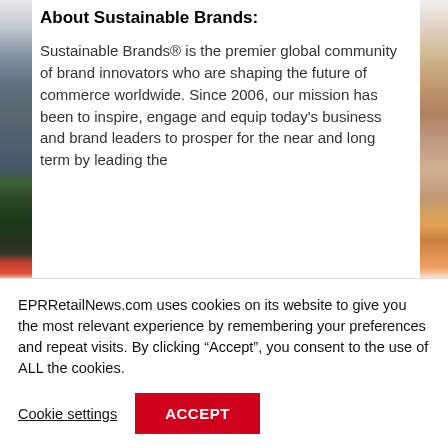[Figure (photo): Left side image strip showing retail/store products on shelves]
About Sustainable Brands:
Sustainable Brands® is the premier global community of brand innovators who are shaping the future of commerce worldwide. Since 2006, our mission has been to inspire, engage and equip today's business and brand leaders to prosper for the near and long term by leading the
[Figure (photo): Right side image strip showing red/orange colored products or packaging]
EPRRetailNews.com uses cookies on its website to give you the most relevant experience by remembering your preferences and repeat visits. By clicking “Accept”, you consent to the use of ALL the cookies.
Cookie settings
ACCEPT